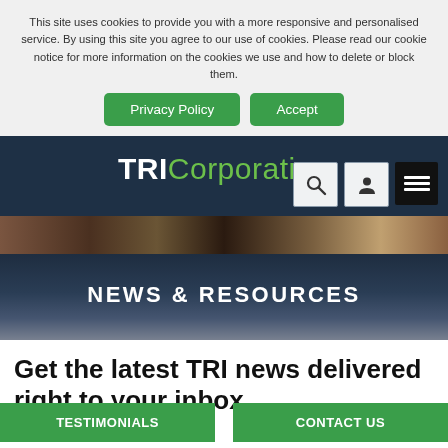This site uses cookies to provide you with a more responsive and personalised service. By using this site you agree to our use of cookies. Please read our cookie notice for more information on the cookies we use and how to delete or block them.
Privacy Policy | Accept
TRI Corporation
NEWS & RESOURCES
Get the latest TRI news delivered right to your inbox
TESTIMONIALS | CONTACT US